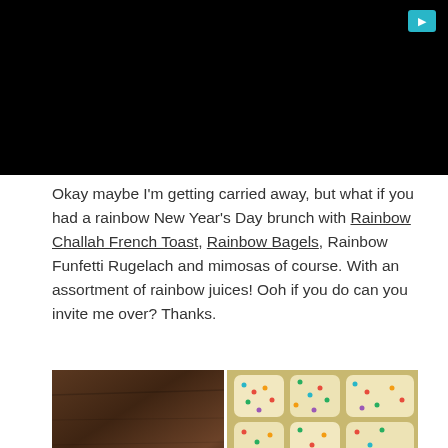[Figure (photo): Black banner/video area at top of page with a teal play button icon in the upper right corner]
Okay maybe I'm getting carried away, but what if you had a rainbow New Year's Day brunch with Rainbow Challah French Toast, Rainbow Bagels, Rainbow Funfetti Rugelach and mimosas of course. With an assortment of rainbow juices! Ooh if you do can you invite me over? Thanks.
[Figure (photo): Two food photos side by side: left shows a white dish on a wooden table, right shows rainbow sprinkle-covered rugelach pieces on a plate]